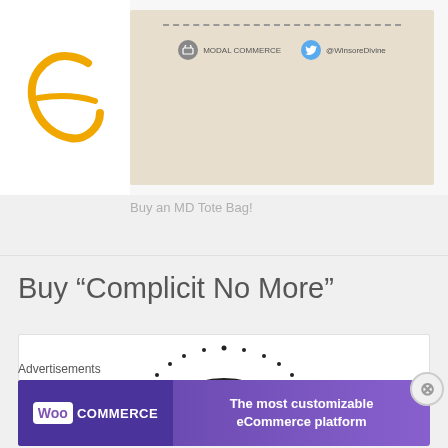[Figure (illustration): Screenshot of a product page showing an MD Tote Bag. On the left is an orange cursive letter 'e' logo on white background. On the right is a beige/tan tote bag card with dotted line and social media icons.]
Buy an MD Tote Bag!
Buy “Complicit No More”
[Figure (illustration): Partial illustration of a mountain/rainbow scene with dotted rays, shown as a book or product cover. Black and white line art style.]
[Figure (other): Close (X) button circle on the right side]
Advertisements
[Figure (other): WooCommerce advertisement banner in purple. Left side shows WooCommerce logo (Woo in white box + COMMERCE text). Right side reads: The most customizable eCommerce platform]